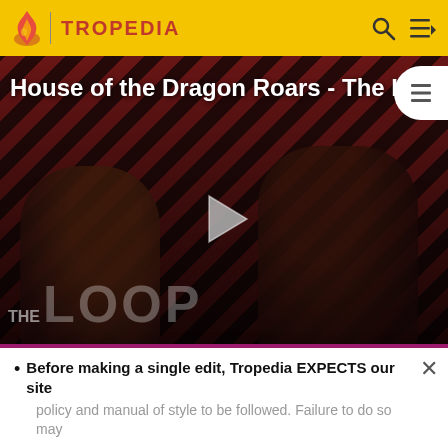TROPEDIA
[Figure (screenshot): Video thumbnail for 'House of the Dragon Roars - The L...' showing two dark silhouetted figures against diagonal red and dark stripe background with a play button in the center, 'THE LOOP' text at bottom left, and 'NaN:NaN' timer at bottom right.]
taking a punch from Thanos.
Despite having "teaching machines" they could use, in
Before making a single edit, Tropedia EXPECTS our site policy and manual of style to be followed. Failure to do so may
READ MORE